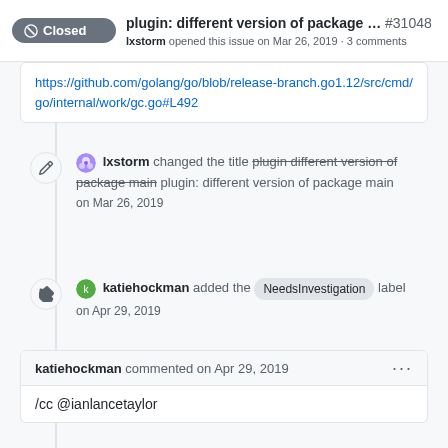plugin: different version of package ... #31048 lxstorm opened this issue on Mar 26, 2019 · 3 comments
https://github.com/golang/go/blob/release-branch.go1.12/src/cmd/go/internal/work/gc.go#L492
lxstorm changed the title plugin different version of package main plugin: different version of package main on Mar 26, 2019
katiehockman added the NeedsInvestigation label on Apr 29, 2019
katiehockman commented on Apr 29, 2019
/cc @ianlancetaylor